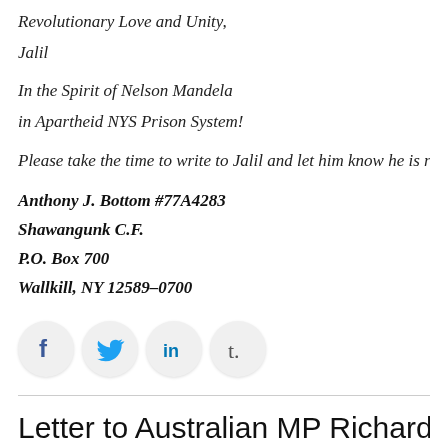Revolutionary Love and Unity,
Jalil
In the Spirit of Nelson Mandela
in Apartheid NYS Prison System!
Please take the time to write to Jalil and let him know he is r
Anthony J. Bottom #77A4283
Shawangunk C.F.
P.O. Box 700
Wallkill, NY 12589–0700
[Figure (infographic): Social media sharing icons: Facebook (f), Twitter (bird), LinkedIn (in), Tumblr (t)]
Letter to Australian MP Richard Ma joke